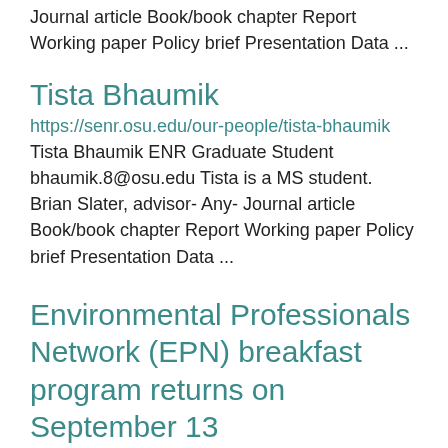Journal article Book/book chapter Report Working paper Policy brief Presentation Data ...
Tista Bhaumik
https://senr.osu.edu/our-people/tista-bhaumik Tista Bhaumik ENR Graduate Student bhaumik.8@osu.edu Tista is a MS student. Brian Slater, advisor- Any- Journal article Book/book chapter Report Working paper Policy brief Presentation Data ...
Environmental Professionals Network (EPN) breakfast program returns on September 13